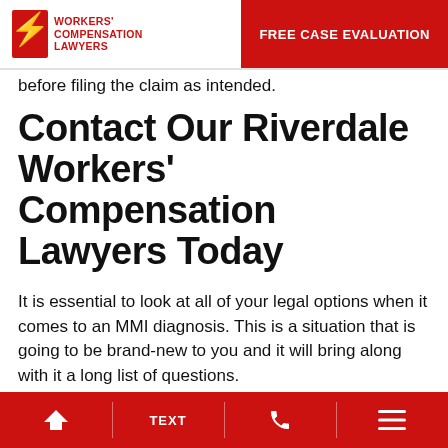Workers' Compensation Lawyers | FREE CASE EVALUATION
before filing the claim as intended.
Contact Our Riverdale Workers' Compensation Lawyers Today
It is essential to look at all of your legal options when it comes to an MMI diagnosis. This is a situation that is going to be brand-new to you and it will bring along with it a long list of questions.
There is nothing wrong with feeling like this and this is a situation many clients go through. When you are dealing with...
Home | TEXT | Call | Menu